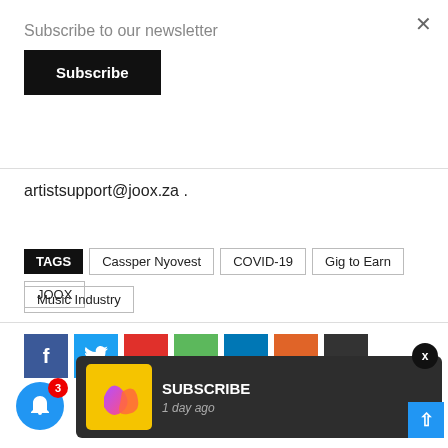Subscribe to our newsletter
Subscribe
artistsupport@joox.za .
TAGS  Cassper Nyovest  COVID-19  Gig to Earn  JOOX
Music Industry
[Figure (screenshot): Social share icons: Facebook (blue), Twitter (light blue), and several others in red, green, blue, orange, dark colors. A notification overlay shows a JOOX logo with 'SUBSCRIBE' and '1 day ago'. A blue bell button with badge '3' is visible bottom left. A scroll-to-top button is at bottom right.]